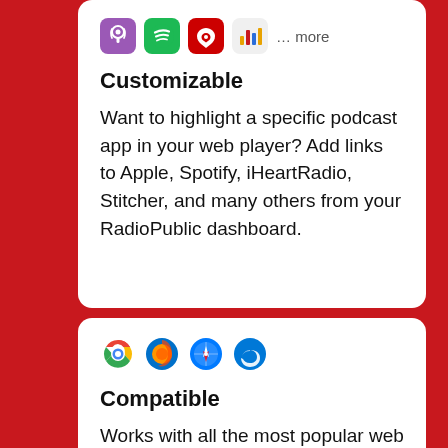[Figure (illustration): Row of podcast app icons: Apple Podcasts (purple microphone), Spotify (green), iHeartRadio (red), Stitcher (colorful bars), followed by '… more' text]
Customizable
Want to highlight a specific podcast app in your web player? Add links to Apple, Spotify, iHeartRadio, Stitcher, and many others from your RadioPublic dashboard.
[Figure (illustration): Row of browser icons: Google Chrome, Firefox, Safari, Microsoft Edge]
Compatible
Works with all the most popular web browsers like Google Chrome, Firefox, Safari, and Microsoft Edge